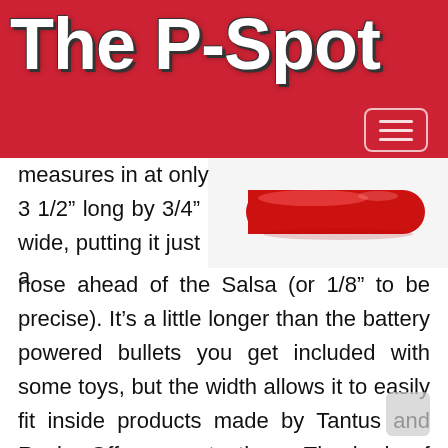The P-Spot
[Figure (photo): A red elongated bullet-shaped toy on a white background]
measures in at only 3 1/2" long by 3/4" wide, putting it just a nose ahead of the Salsa (or 1/8" to be precise). It's a little longer than the battery powered bullets you get included with some toys, but the width allows it to easily fit inside products made by Tantus and Rocks Off amongst others. The body of the toy is manufactured in one single piece from ABS plastic, and comes in a choice of only two colours, blue or pink, down from a selection of six in the old Salsa/Tango line. This does make the product feel